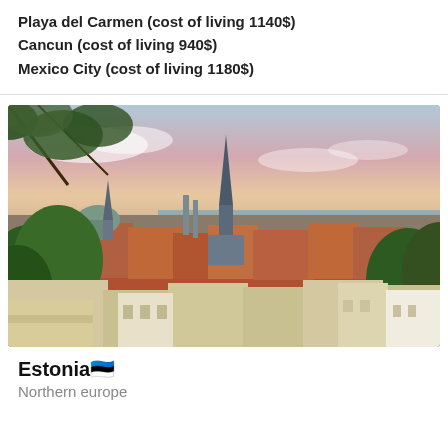Playa del Carmen (cost of living 1140$)
Cancun (cost of living 940$)
Mexico City (cost of living 1180$)
[Figure (photo): Aerial panoramic view of Tallinn old town, Estonia, showing red-roofed buildings, church spire, trees in foreground, and sea in background at dusk]
Estonia🇪🇪
Northern europe